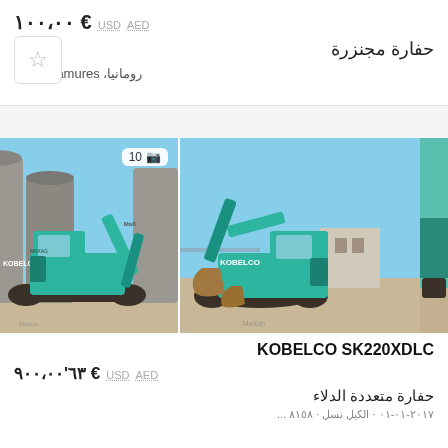AED  USD  € ١٠٠،٠٠
حفارة مجنزرة
رومانيا، Maramures
[Figure (photo): Two Kobelco crawler excavators side by side: left shows a full green Kobelco excavator on a paved lot with buildings in background; right shows a green Kobelco excavator in front of large grain silos with MaxAgro branding. Right image has a photo count badge showing camera icon and 10.]
KOBELCO SK220XDLC
AED  USD  € ٦٣'٩٠٠،٠٠
حفارة متعددة الدلاء
٢٠١٧-٠١-٠١ · الكيل نسل · ٨١٥٨ ...